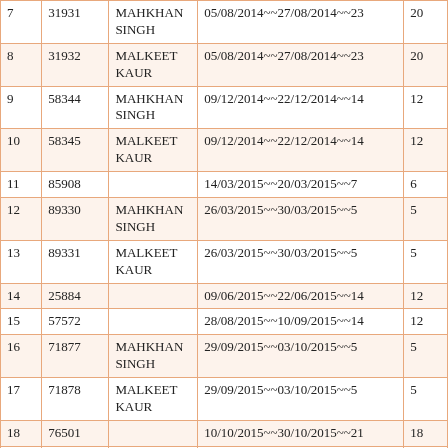|  |  |  |  |  |
| --- | --- | --- | --- | --- |
| 7 | 31931 | MAHKHAN SINGH | 05/08/2014~~27/08/2014~~23 | 20 |
| 8 | 31932 | MALKEET KAUR | 05/08/2014~~27/08/2014~~23 | 20 |
| 9 | 58344 | MAHKHAN SINGH | 09/12/2014~~22/12/2014~~14 | 12 |
| 10 | 58345 | MALKEET KAUR | 09/12/2014~~22/12/2014~~14 | 12 |
| 11 | 85908 |  | 14/03/2015~~20/03/2015~~7 | 6 |
| 12 | 89330 | MAHKHAN SINGH | 26/03/2015~~30/03/2015~~5 | 5 |
| 13 | 89331 | MALKEET KAUR | 26/03/2015~~30/03/2015~~5 | 5 |
| 14 | 25884 |  | 09/06/2015~~22/06/2015~~14 | 12 |
| 15 | 57572 |  | 28/08/2015~~10/09/2015~~14 | 12 |
| 16 | 71877 | MAHKHAN SINGH | 29/09/2015~~03/10/2015~~5 | 5 |
| 17 | 71878 | MALKEET KAUR | 29/09/2015~~03/10/2015~~5 | 5 |
| 18 | 76501 |  | 10/10/2015~~30/10/2015~~21 | 18 |
| 19 | 83672 |  | 04/11/2015~~17/11/2015~~14 | 12 |
| 20 | 138245 | MAHKHAN SINGH | 10/02/2016~~23/02/2016~~14 | 12 |
| 21 | 138246 | MALKEET KAUR | 10/02/2016~~23/02/2016~~14 | 12 |
| 22 | 103575 |  | 12/09/2016~~25/09/2016~~14 | 12 |
| 23 | 114026 |  | 02/12/2016~~15/12/2016~~14 | 12 |